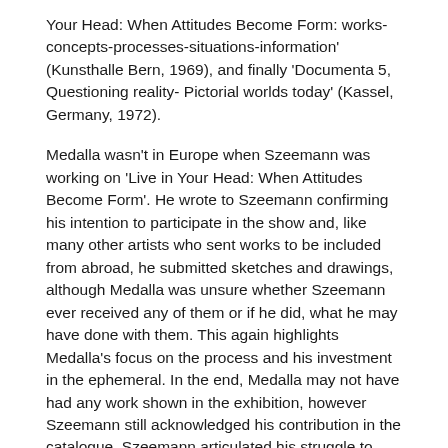Your Head: When Attitudes Become Form: works-concepts-processes-situations-information' (Kunsthalle Bern, 1969), and finally 'Documenta 5, Questioning reality- Pictorial worlds today' (Kassel, Germany, 1972).
Medalla wasn't in Europe when Szeemann was working on 'Live in Your Head: When Attitudes Become Form'. He wrote to Szeemann confirming his intention to participate in the show and, like many other artists who sent works to be included from abroad, he submitted sketches and drawings, although Medalla was unsure whether Szeemann ever received any of them or if he did, what he may have done with them. This again highlights Medalla's focus on the process and his investment in the ephemeral. In the end, Medalla may not have had any work shown in the exhibition, however Szeemann still acknowledged his contribution in the catalogue. Szeemann articulated his struggle to categorise or indeed write about the works of art in the catalogue of 'When Attitudes Become Form'. This was mirrored by Steeds, who recalled the many ways in which Medalla, who avoided categorization, labeled his own work over the years as auto-creative art, air-art, earth-art, instruction-art... Medalla was resistant to the term conceptualism. He was wary of categories that didn't cover the full scope of his practice